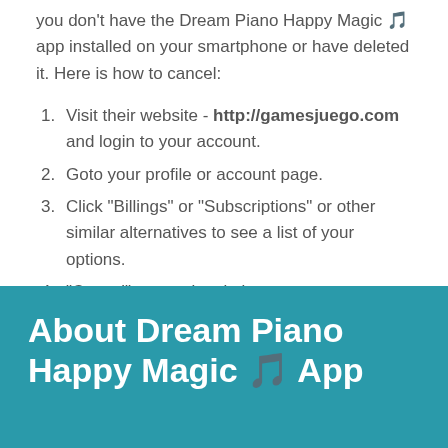you don't have the Dream Piano Happy Magic 🎵 app installed on your smartphone or have deleted it. Here is how to cancel:
Visit their website - http://gamesjuego.com and login to your account.
Goto your profile or account page.
Click "Billings" or "Subscriptions" or other similar alternatives to see a list of your options.
"Cancel" your subscription.
About Dream Piano Happy Magic 🎵 App